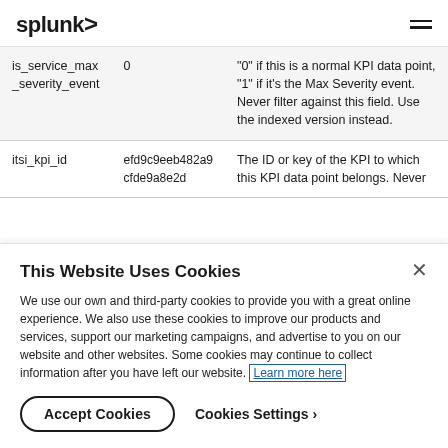splunk> ≡
| Field | Example | Description |
| --- | --- | --- |
| is_service_max_severity_event | 0 | "0" if this is a normal KPI data point, "1" if it's the Max Severity event. Never filter against this field. Use the indexed version instead. |
| itsi_kpi_id | efd9c9eeb482a9cfde9a8e2d | The ID or key of the KPI to which this KPI data point belongs. Never |
This Website Uses Cookies
We use our own and third-party cookies to provide you with a great online experience. We also use these cookies to improve our products and services, support our marketing campaigns, and advertise to you on our website and other websites. Some cookies may continue to collect information after you have left our website. Learn more here
Accept Cookies   Cookies Settings ›